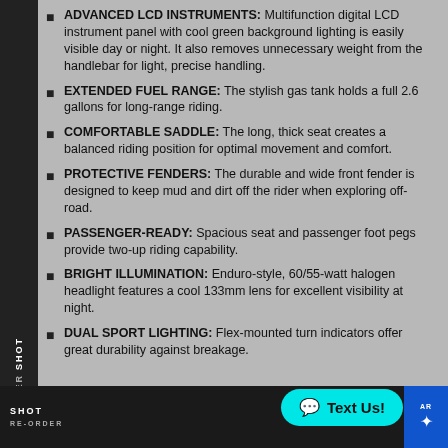ADVANCED LCD INSTRUMENTS: Multifunction digital LCD instrument panel with cool green background lighting is easily visible day or night. It also removes unnecessary weight from the handlebar for light, precise handling.
EXTENDED FUEL RANGE: The stylish gas tank holds a full 2.6 gallons for long-range riding.
COMFORTABLE SADDLE: The long, thick seat creates a balanced riding position for optimal movement and comfort.
PROTECTIVE FENDERS: The durable and wide front fender is designed to keep mud and dirt off the rider when exploring off-road.
PASSENGER-READY: Spacious seat and passenger foot pegs provide two-up riding capability.
BRIGHT ILLUMINATION: Enduro-style, 60/55-watt halogen headlight features a cool 133mm lens for excellent visibility at night.
DUAL SPORT LIGHTING: Flex-mounted turn indicators offer great durability against breakage.